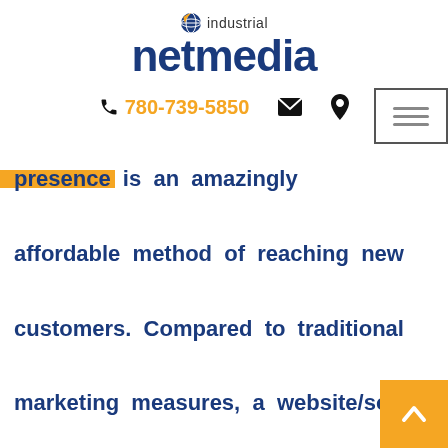[Figure (logo): Industrial NetMedia logo with globe icon, 'industrial' text above and 'netmedia' in large bold dark blue font]
780-739-5850 [phone icon] [email icon] [location icon] [hamburger menu]
presence is an amazingly affordable method of reaching new customers. Compared to traditional marketing measures, a website/social media marketing thrust may be the most cost-effective advertising endeavor a business can make. Consider the alternatives: